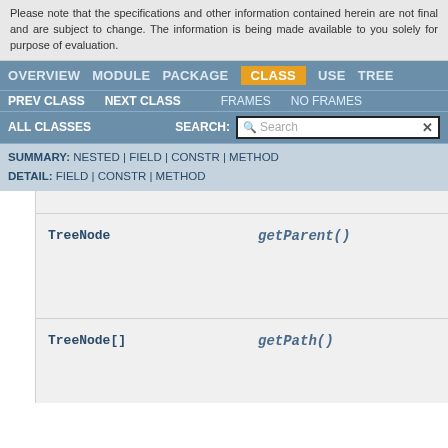Please note that the specifications and other information contained herein are not final and are subject to change. The information is being made available to you solely for purpose of evaluation.
OVERVIEW  MODULE  PACKAGE  CLASS  USE  TREE
PREV CLASS  NEXT CLASS  FRAMES  NO FRAMES
ALL CLASSES  SEARCH:
SUMMARY: NESTED | FIELD | CONSTR | METHOD
DETAIL: FIELD | CONSTR | METHOD
TreeNode  getParent()
TreeNode[]  getPath()